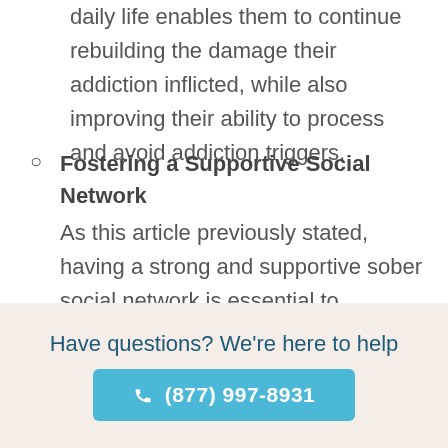daily life enables them to continue rebuilding the damage their addiction inflicted, while also improving their ability to process and avoid addiction triggers.
Fostering a Supportive Social Network
As this article previously stated, having a strong and supportive sober social network is essential to
Have questions? We're here to help
(877) 997-8931